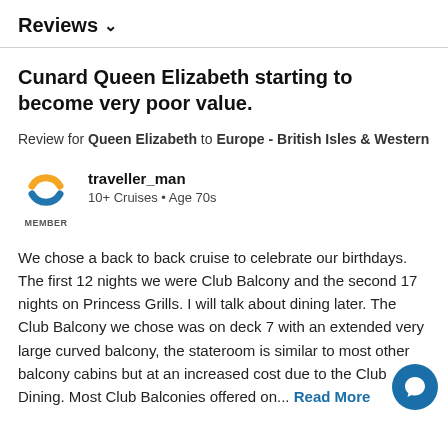Reviews ∨
Cunard Queen Elizabeth starting to become very poor value.
Review for Queen Elizabeth to Europe - British Isles & Western
traveller_man
10+ Cruises • Age 70s
We chose a back to back cruise to celebrate our birthdays. The first 12 nights we were Club Balcony and the second 17 nights on Princess Grills. I will talk about dining later. The Club Balcony we chose was on deck 7 with an extended very large curved balcony, the stateroom is similar to most other balcony cabins but at an increased cost due to the Club Dining. Most Club Balconies offered on... Read More